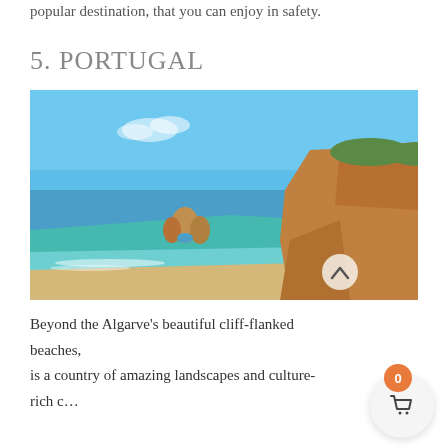popular destination, that you can enjoy in safety.
5. PORTUGAL
[Figure (photo): Scenic coastal photo of the Algarve, Portugal — blue sea, sandy beach, golden limestone cliffs with rock formations, bright blue sky.]
Beyond the Algarve's beautiful cliff-flanked beaches, is a country of amazing landscapes and culture-rich c…